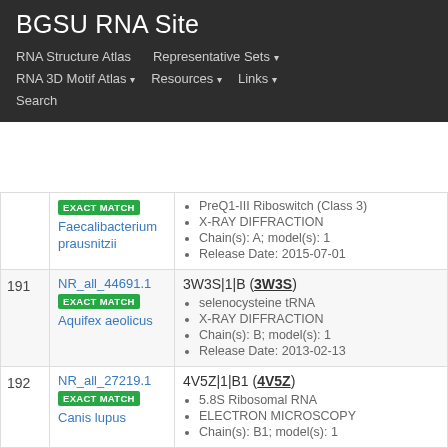BGSU RNA Site
RNA Structure Atlas    Representative Sets ▾    RNA 3D Motif Atlas ▾    Resources ▾    Links ▾    Search
| # | Cluster / Organism | Structure Details |
| --- | --- | --- |
|  | EXACT MATCH
Faecalibacterium prausnitzii | PreQ1-III Riboswitch (Class 3)
X-RAY DIFFRACTION
Chain(s): A; model(s): 1
Release Date: 2015-07-01 |
| 191 | NR_all_44691.1
EXACT MATCH
Aquifex aeolicus | 3W3S|1|B (3W3S)
seleuocysteine tRNA
X-RAY DIFFRACTION
Chain(s): B; model(s): 1
Release Date: 2013-02-13 |
| 192 | NR_all_27219.1
EXACT MATCH
Canis lupus | 4V5Z|1|B1 (4V5Z)
5.8S Ribosomal RNA
ELECTRON MICROSCOPY
Chain(s): B1; model(s): 1 |